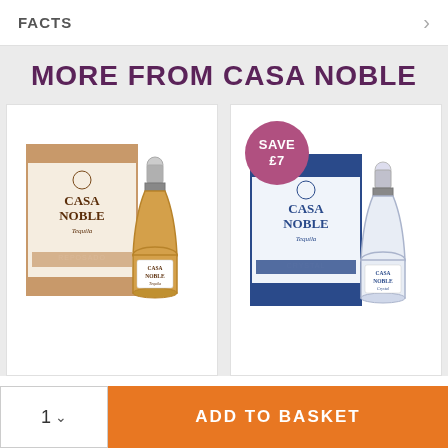FACTS
MORE FROM CASA NOBLE
[Figure (photo): Casa Noble Reposado Tequila bottle with box packaging]
[Figure (photo): Casa Noble Crystal Tequila bottle with box packaging, with a 'SAVE £7' badge]
ADD TO BASKET